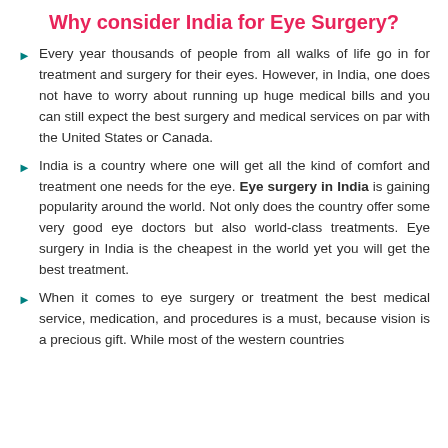Why consider India for Eye Surgery?
Every year thousands of people from all walks of life go in for treatment and surgery for their eyes. However, in India, one does not have to worry about running up huge medical bills and you can still expect the best surgery and medical services on par with the United States or Canada.
India is a country where one will get all the kind of comfort and treatment one needs for the eye. Eye surgery in India is gaining popularity around the world. Not only does the country offer some very good eye doctors but also world-class treatments. Eye surgery in India is the cheapest in the world yet you will get the best treatment.
When it comes to eye surgery or treatment the best medical service, medication, and procedures is a must, because vision is a precious gift. While most of the western countries